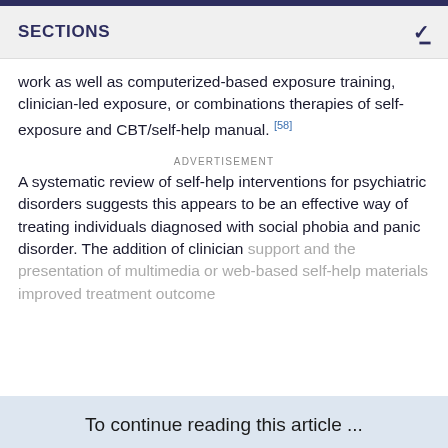SECTIONS
work as well as computerized-based exposure training, clinician-led exposure, or combinations therapies of self-exposure and CBT/self-help manual. [58]
ADVERTISEMENT
A systematic review of self-help interventions for psychiatric disorders suggests this appears to be an effective way of treating individuals diagnosed with social phobia and panic disorder. The addition of clinician support and the presentation of multimedia or web-based self-help materials improved treatment outcome
To continue reading this article ...